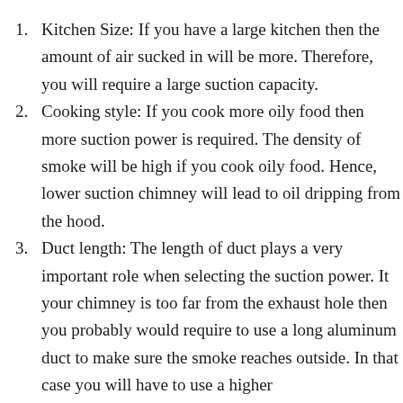Kitchen Size: If you have a large kitchen then the amount of air sucked in will be more. Therefore, you will require a large suction capacity.
Cooking style: If you cook more oily food then more suction power is required. The density of smoke will be high if you cook oily food. Hence, lower suction chimney will lead to oil dripping from the hood.
Duct length: The length of duct plays a very important role when selecting the suction power. It your chimney is too far from the exhaust hole then you probably would require to use a long aluminum duct to make sure the smoke reaches outside. In that case you will have to use a higher